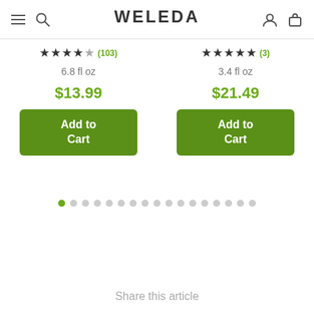WELEDA
★★★★½ (103)  6.8 fl oz  $13.99
★★★★★ (3)  3.4 fl oz  $21.49
Add to Cart
Add to Cart
Share this article